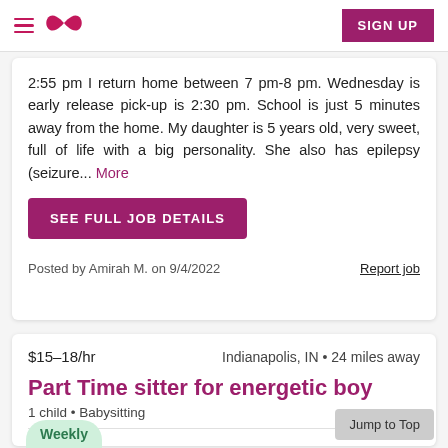SIGN UP
2:55 pm I return home between 7 pm-8 pm. Wednesday is early release pick-up is 2:30 pm. School is just 5 minutes away from the home. My daughter is 5 years old, very sweet, full of life with a big personality. She also has epilepsy (seizure... More
SEE FULL JOB DETAILS
Posted by Amirah M. on 9/4/2022
Report job
$15–18/hr    Indianapolis, IN • 24 miles away
Part Time sitter for energetic boy
1 child • Babysitting
Jump to Top
Weekly